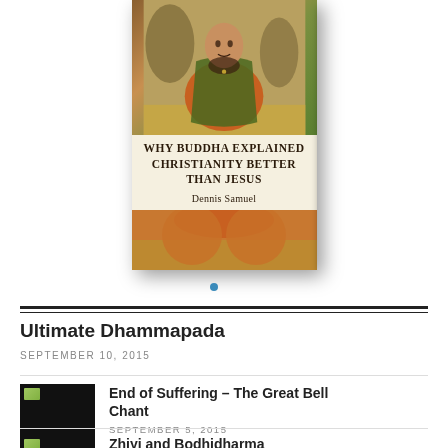[Figure (photo): Book cover for 'Why Buddha Explained Christianity Better Than Jesus' by Dennis Samuel, showing a figure resembling Jesus in orange and green robes against a natural background. The book cover is shown in a 3D perspective with a spine visible.]
Ultimate Dhammapada
SEPTEMBER 10, 2015
[Figure (photo): Small thumbnail image with dark/black background and a small green landscape icon in upper left corner, for 'End of Suffering – The Great Bell Chant']
End of Suffering – The Great Bell Chant
SEPTEMBER 5, 2015
[Figure (photo): Small thumbnail image with dark background and small green icon, for 'Zhiyi and Bodhidharma']
Zhiyi and Bodhidharma